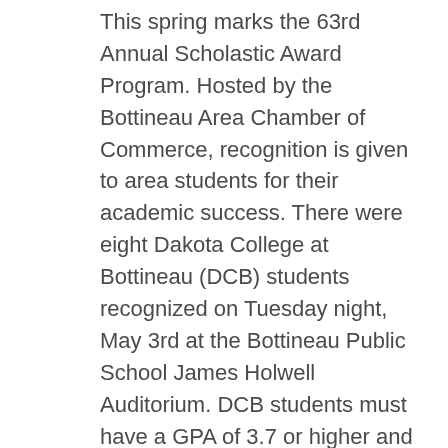This spring marks the 63rd Annual Scholastic Award Program. Hosted by the Bottineau Area Chamber of Commerce, recognition is given to area students for their academic success. There were eight Dakota College at Bottineau (DCB) students recognized on Tuesday night, May 3rd at the Bottineau Public School James Holwell Auditorium. DCB students must have a GPA of 3.7 or higher and are on track to graduate in spring 2022 with an associate-level degree. In addition, the student's extracurricular and co-curricular activities are taken into consideration. The academic achievements of some exceptionally bright and talented students were recognized by Larry Brooks, Dakota College Dean for